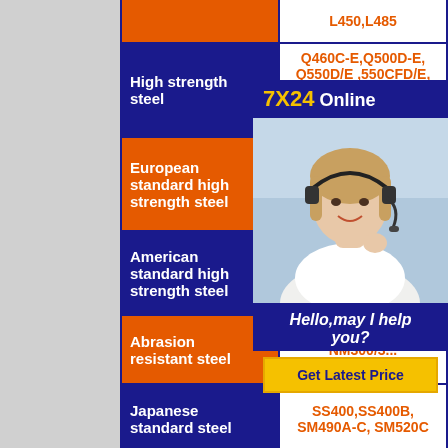| Category | Grades |
| --- | --- |
| (top row partial) | L450,L485 |
| High strength steel | Q460C-E,Q500D-E,Q550D/E,550CFD/E,Q890...Q890...Q1... |
| European standard high strength steel | S4...,S5...,S550C...,S890... |
| American standard high strength steel | A514 G... |
| Abrasion resistant steel | NM300/3... |
| Japanese standard steel | SS400,SS400B,SM490A-C,SM520C |
| European standard steel | S235JR-J2,S275JR-J2,S355JRK2,S355M/ML,275N/NL,S355N/NL,S420/460M/ML, |
[Figure (infographic): Customer service popup overlay showing '7X24 Online' header, photo of woman with headset, 'Hello,may I help you?' message, and 'Get Latest Price' button]